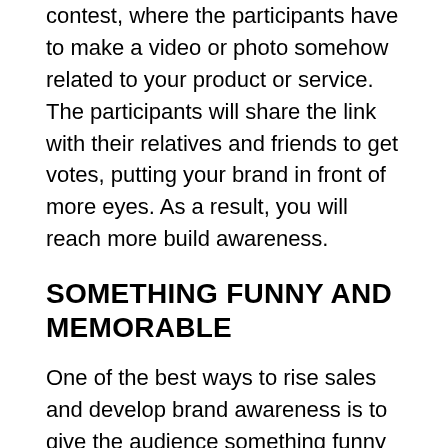contest, where the participants have to make a video or photo somehow related to your product or service. The participants will share the link with their relatives and friends to get votes, putting your brand in front of more eyes. As a result, you will reach more build awareness.
SOMETHING FUNNY AND MEMORABLE
One of the best ways to rise sales and develop brand awareness is to give the audience something funny and unique to create the identity of your brand. Don't be afraid if your niche has a little dose of humor – that's even better. Bringing some comedy in